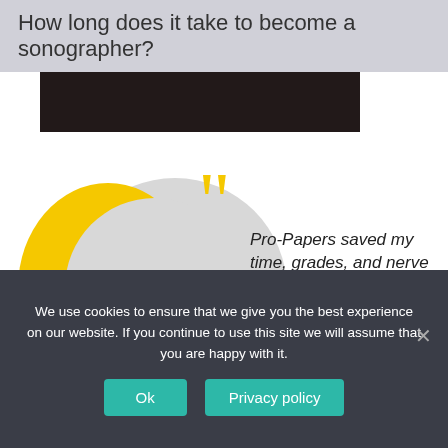How long does it take to become a sonographer?
[Figure (photo): Dark cropped photo strip at top of page content area]
[Figure (illustration): Decorative testimonial graphic with yellow half-circle shape and grey circle shape with large yellow quotation marks]
Pro-Papers saved my time, grades, and nerve cells!
[Figure (photo): Circular portrait photo of a young woman with red hair and glasses, smiling, in an outdoor setting]
We use cookies to ensure that we give you the best experience on our website. If you continue to use this site we will assume that you are happy with it.